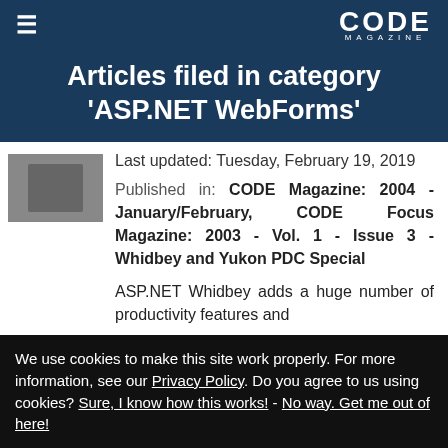CODE MAGAZINE
Articles filed in category 'ASP.NET WebForms'
Last updated: Tuesday, February 19, 2019
Published in: CODE Magazine: 2004 - January/February, CODE Focus Magazine: 2003 - Vol. 1 - Issue 3 - Whidbey and Yukon PDC Special
ASP.NET Whidbey adds a huge number of productivity features and
We use cookies to make this site work properly. For more information, see our Privacy Policy. Do you agree to us using cookies? Sure, I know how this works! - No way. Get me out of here!